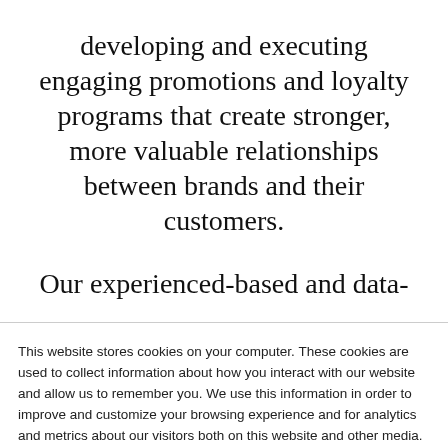developing and executing engaging promotions and loyalty programs that create stronger, more valuable relationships between brands and their customers.
Our experienced-based and data-
This website stores cookies on your computer. These cookies are used to collect information about how you interact with our website and allow us to remember you. We use this information in order to improve and customize your browsing experience and for analytics and metrics about our visitors both on this website and other media. To find out more about the cookies we use, see our Privacy Policy
If you decline, your information won't be tracked when you visit this website. A single cookie will be used in your browser to remember your preference not to be tracked.
Accept
Decline